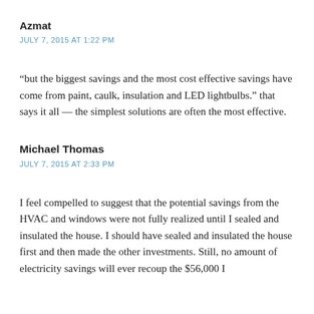Azmat
JULY 7, 2015 AT 1:22 PM
“but the biggest savings and the most cost effective savings have come from paint, caulk, insulation and LED lightbulbs.” that says it all — the simplest solutions are often the most effective.
Michael Thomas
JULY 7, 2015 AT 2:33 PM
I feel compelled to suggest that the potential savings from the HVAC and windows were not fully realized until I sealed and insulated the house. I should have sealed and insulated the house first and then made the other investments. Still, no amount of electricity savings will ever recoup the $56,000 I